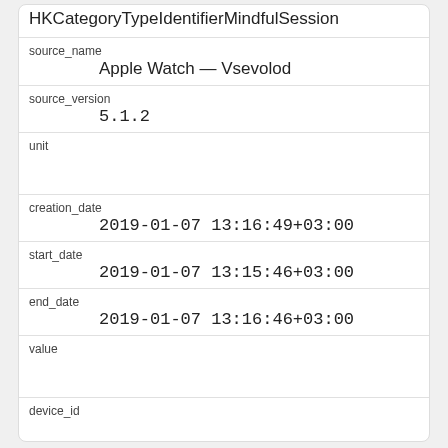HKCategoryTypeIdentifierMindfulSession
| field | value |
| --- | --- |
| source_name | Apple Watch — Vsevolod |
| source_version | 5.1.2 |
| unit |  |
| creation_date | 2019-01-07 13:16:49+03:00 |
| start_date | 2019-01-07 13:15:46+03:00 |
| end_date | 2019-01-07 13:16:46+03:00 |
| value |  |
| device_id |  |
| field | value |
| --- | --- |
| id | 367981 |
| created_at |  |